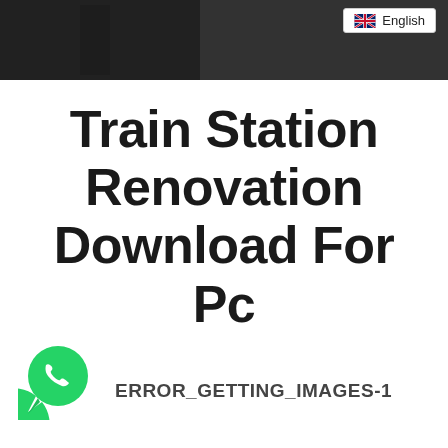[Figure (photo): Dark gray/black banner at top of page showing partial background image of a train station scene]
Train Station Renovation Download For Pc
[Figure (logo): WhatsApp green circular logo with white phone handset icon]
ERROR_GETTING_IMAGES-1